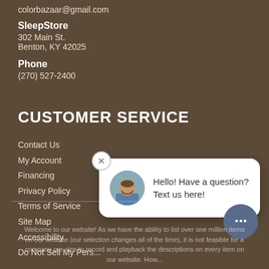colorbazaar@gmail.com
SleepStore
302 Main St.
Benton, KY 42025
Phone
(270) 527-2400
CUSTOMER SERVICE
Contact Us
My Account
Financing
Privacy Policy
Terms of Service
Site Map
Accessibility
Do Not Sell My Pers...
[Figure (other): Chat popup overlay with avatar photo of a bald man with beard, text: 'Hello! Have a question? Text us here!' with a close (x) button and a chat bubble button in bottom right corner]
Welcome to our website! As we have the ability to list over one million items on our website (our selection changes all of the time), it is not feasible for a company our size to record and playback the descriptions on every item on our website. How...